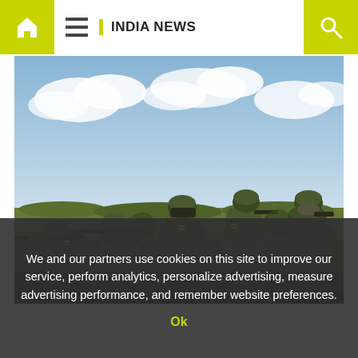INDIA NEWS
[Figure (photo): Indian Army soldiers in camouflage uniforms and helmets, carrying assault rifles, crouching in a field during a military exercise or operation. Sky with clouds in background.]
We and our partners use cookies on this site to improve our service, perform analytics, personalize advertising, measure advertising performance, and remember website preferences.
Ok